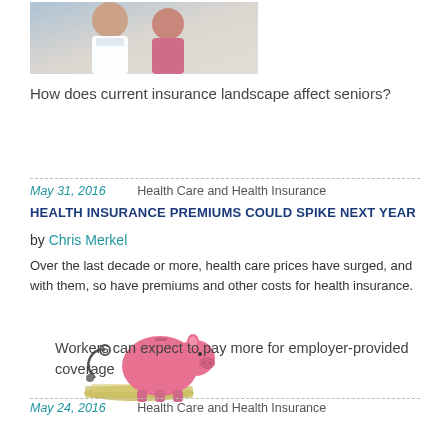[Figure (photo): Photo of medical professionals, likely a doctor and nurse or patient interaction]
How does current insurance landscape affect seniors?
May 31, 2016    Health Care and Health Insurance
HEALTH INSURANCE PREMIUMS COULD SPIKE NEXT YEAR
by Chris Merkel
Over the last decade or more, health care prices have surged, and with them, so have premiums and other costs for health insurance.
[Figure (photo): Photo of a pink piggy bank with a stethoscope and money/coins, representing health insurance costs]
Workers can expect to pay more for employer-provided coverage
May 24, 2016    Health Care and Health Insurance